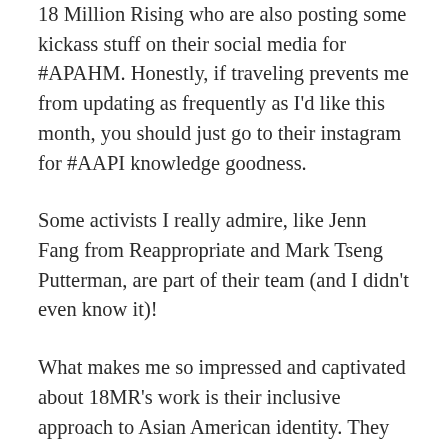18 Million Rising who are also posting some kickass stuff on their social media for #APAHM. Honestly, if traveling prevents me from updating as frequently as I'd like this month, you should just go to their instagram for #AAPI knowledge goodness.
Some activists I really admire, like Jenn Fang from Reappropriate and Mark Tseng Putterman, are part of their team (and I didn't even know it)!
What makes me so impressed and captivated about 18MR's work is their inclusive approach to Asian American identity. They don't just focus on South Asian or East Asian Southeast Asian. The Asian American community has expanded tenfold since the 1965 Hart-Celler Act (though of course there have been Asians of all ethnic and national identity backgrounds in the US since like the 1800s — just go read Erika Lee's